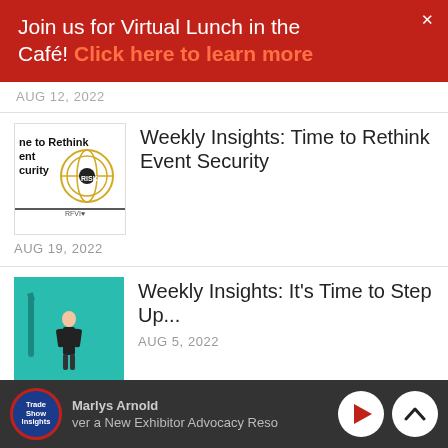Join us for Virtual Lunch in the Café! Click here to learn more
AUG 12, 2022
[Figure (illustration): Thumbnail for Weekly Insights: Time to Rethink Event Security article with risk text and globe icon]
Weekly Insights: Time to Rethink Event Security
AUG 19, 2022
[Figure (illustration): Teal thumbnail with a person figure for Weekly Insights: It's Time to Step Up article]
Weekly Insights: It's Time to Step Up...
AUG 5, 2022
[Figure (illustration): Dark thumbnail for Back-to-School Lessons for Exhibitors article]
Back-to-School Lessons for Exhibitors
Marlys Arnold | ver a New Exhibitor Advocacy Reso